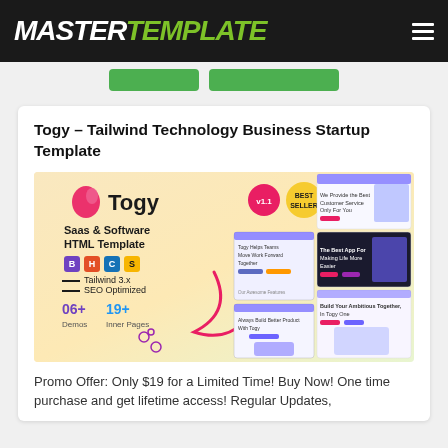MASTERTEMPLATE
[Figure (screenshot): Two green buttons partially visible below the header navigation strip]
Togy – Tailwind Technology Business Startup Template
[Figure (screenshot): Togy v1.1 Saas & Software HTML Template promotional banner showing multiple website demo screenshots including the Togy homepage with 'Togy Helps teams Move Work Forward Together' tagline, app page, and product build pages. Features icons for Bootstrap, HTML5, CSS3, and Sketch. Shows Tailwind 3.x, SEO Optimized, 06+ Demos, 19+ Inner Pages.]
Promo Offer: Only $19 for a Limited Time! Buy Now! One time purchase and get lifetime access! Regular Updates,